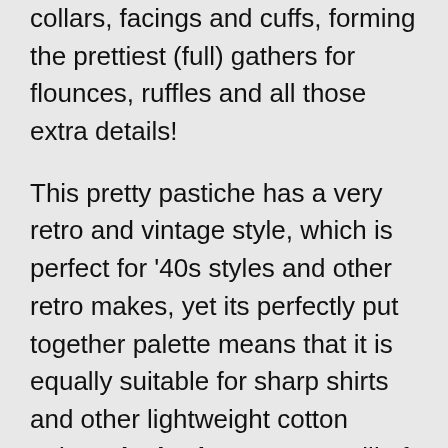collars, facings and cuffs, forming the prettiest (full) gathers for flounces, ruffles and all those extra details!
This pretty pastiche has a very retro and vintage style, which is perfect for '40s styles and other retro makes, yet its perfectly put together palette means that it is equally suitable for sharp shirts and other lightweight cotton attire. Black Citrus Grove will of course make classic shirts and blouses, pretty dresses, and the cutest little baby rompers.
Crafting? Add this perfect Pima lawn to your crafting stash for fun homespun makes. Specially selected colourful matching buttons, pom-pom trim or ric-rac and other sewing notions will add a customised style